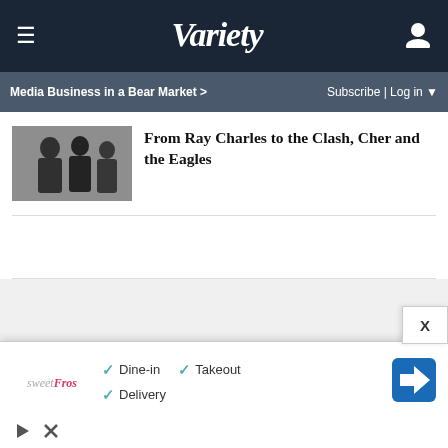Variety
Media Business in a Bear Market > Subscribe | Log in
From Ray Charles to the Clash, Cher and the Eagles
[Figure (photo): Black and white thumbnail photo of musicians]
[Figure (infographic): Advertisement for sweetFros restaurant showing Dine-in, Takeout, Delivery options with checkmarks and map icon]